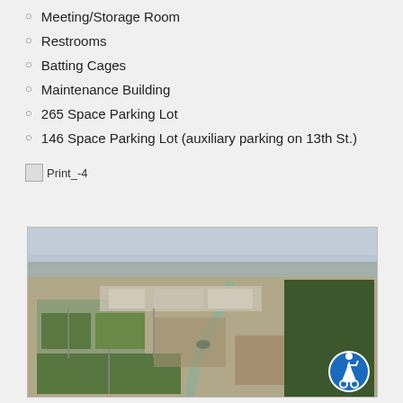Meeting/Storage Room
Restrooms
Batting Cages
Maintenance Building
265 Space Parking Lot
146 Space Parking Lot (auxiliary parking on 13th St.)
[Figure (other): Print icon with label Print_-4]
[Figure (photo): Aerial photograph of a sports complex with multiple fields, parking lots, maintenance buildings, and surrounding industrial area. An accessibility icon appears in the bottom-right corner.]